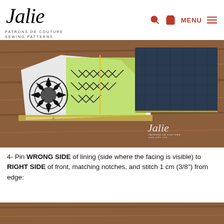Jalie - PATRONS DE COUTURE SEWING PATTERNS - MENU
[Figure (photo): Sewing project photo showing fabric with black and white mandala/geometric pattern in green and white, and dark denim fabric piece, laid on a wooden table surface. A yellow thread is visible. Jalie logo watermark in bottom right.]
4- Pin WRONG SIDE of lining (side where the facing is visible) to RIGHT SIDE of front, matching notches, and stitch 1 cm (3/8") from edge:
[Figure (photo): Partial view of wooden table surface, bottom portion of page.]